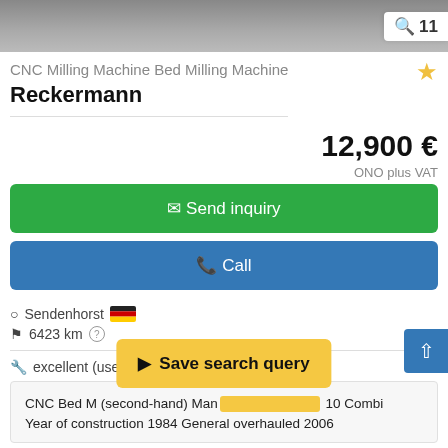[Figure (photo): Partial top image of a CNC Milling Machine with image count badge showing 11]
CNC Milling Machine Bed Milling Machine
Reckermann
12,900 €
ONO plus VAT
Send inquiry
Call
Sendenhorst 🇩🇪
6423 km
excellent (used)
CNC Bed Milling Machine (second-hand) Man... 10 Combi Year of construction 1984 General overhauled 2006
Save search query